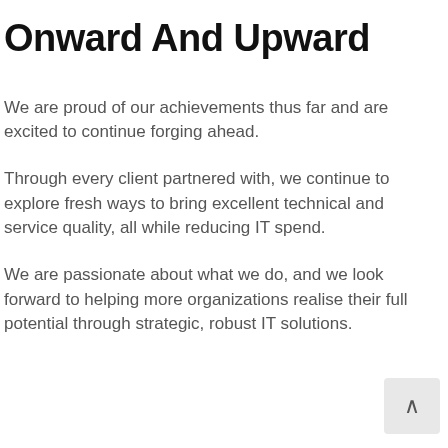Onward And Upward
We are proud of our achievements thus far and are excited to continue forging ahead.
Through every client partnered with, we continue to explore fresh ways to bring excellent technical and service quality, all while reducing IT spend.
We are passionate about what we do, and we look forward to helping more organizations realise their full potential through strategic, robust IT solutions.